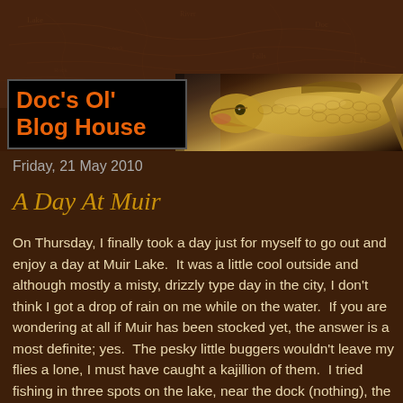[Figure (photo): Blog header banner with brown map-texture background, a black title box with orange text 'Doc's Ol' Blog House', and a close-up photo of a pike fish on the right side.]
Friday, 21 May 2010
A Day At Muir
On Thursday, I finally took a day just for myself to go out and enjoy a day at Muir Lake.  It was a little cool outside and although mostly a misty, drizzly type day in the city, I don't think I got a drop of rain on me while on the water.  If you are wondering at all if Muir has been stocked yet, the answer is a most definite; yes.  The pesky little buggers wouldn't leave my flies a lone, I must have caught a kajillion of them.  I tried fishing in three spots on the lake, near the dock (nothing), the narrows (just stockers) and then my favorite spring time